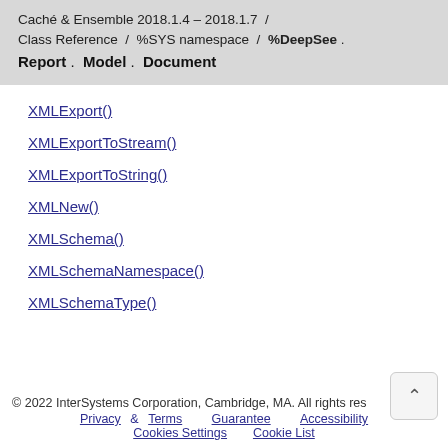Caché & Ensemble 2018.1.4 – 2018.1.7 / Class Reference / %SYS namespace / %DeepSee . Report . Model . Document
XMLExport()
XMLExportToStream()
XMLExportToString()
XMLNew()
XMLSchema()
XMLSchemaNamespace()
XMLSchemaType()
© 2022 InterSystems Corporation, Cambridge, MA. All rights res  Privacy & Terms   Guarantee   Accessibility  Cookies Settings   Cookie List